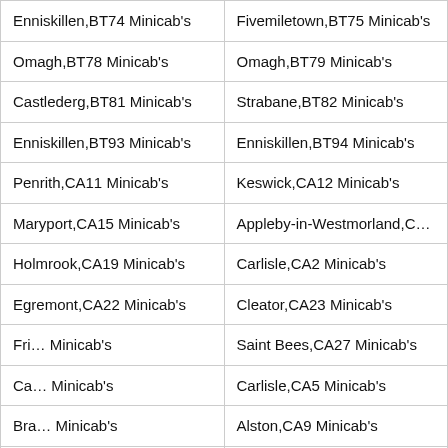| Enniskillen,BT74 Minicab's | Fivemiletown,BT75 Minicab's |
| Omagh,BT78 Minicab's | Omagh,BT79 Minicab's |
| Castlederg,BT81 Minicab's | Strabane,BT82 Minicab's |
| Enniskillen,BT93 Minicab's | Enniskillen,BT94 Minicab's |
| Penrith,CA11 Minicab's | Keswick,CA12 Minicab's |
| Maryport,CA15 Minicab's | Appleby-in-Westmorland,CA… |
| Holmrook,CA19 Minicab's | Carlisle,CA2 Minicab's |
| Egremont,CA22 Minicab's | Cleator,CA23 Minicab's |
| Fri… Minicab's | Saint Bees,CA27 Minicab's |
| Ca… Minicab's | Carlisle,CA5 Minicab's |
| Bra… Minicab's | Alston,CA9 Minicab's |
| Saffron Walden,CB11 Minicab's | Cambridge,CB2 Minicab's |
| Cambridge,CB5 Minicab's | Ely,CB6 Minicab's |